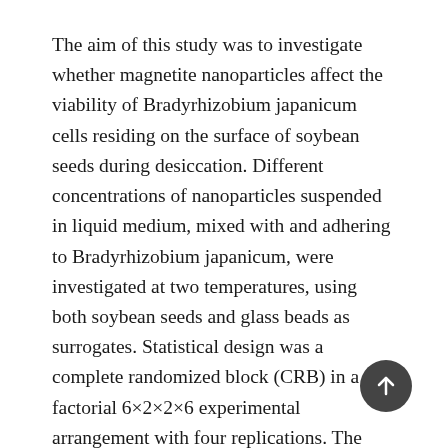The aim of this study was to investigate whether magnetite nanoparticles affect the viability of Bradyrhizobium japanicum cells residing on the surface of soybean seeds during desiccation. Different concentrations of nanoparticles suspended in liquid medium, mixed with and adhering to Bradyrhizobium japanicum, were investigated at two temperatures, using both soybean seeds and glass beads as surrogates. Statistical design was a complete randomized block (CRB) in a factorial 6×2×2×6 experimental arrangement with four replications. The most important variable was the viability of Bradyrhizobium on the surface of the seeds. The nanoparticles increased Bradyrhizobium viability and inoculated seeds stored at low temperature had greater viability when nanoparticles had been added. At the optimum nanoparticle concentration, 50%